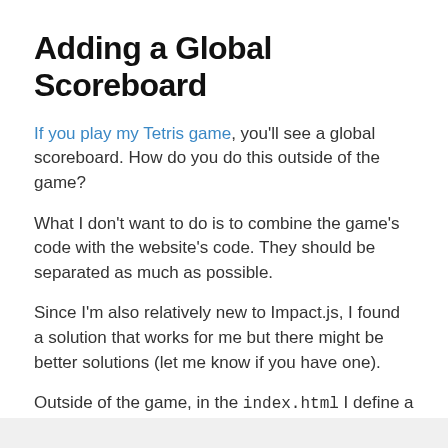Adding a Global Scoreboard
If you play my Tetris game, you'll see a global scoreboard. How do you do this outside of the game?
What I don't want to do is to combine the game's code with the website's code. They should be separated as much as possible.
Since I'm also relatively new to Impact.js, I found a solution that works for me but there might be better solutions (let me know if you have one).
Outside of the game, in the index.html I define a function: